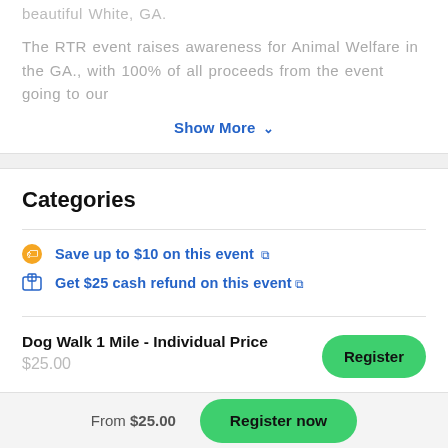beautiful White, GA.
The RTR event raises awareness for Animal Welfare in the GA., with 100% of all proceeds from the event going to our
Show More ▾
Categories
Save up to $10 on this event ↗
Get $25 cash refund on this event ↗
Dog Walk 1 Mile - Individual Price
$25.00
From $25.00  Register now